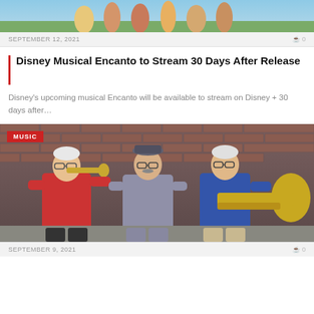[Figure (photo): Top portion of an article image showing animated characters from Disney's Encanto movie, partially cropped at the top of the page.]
SEPTEMBER 12, 2021
0
Disney Musical Encanto to Stream 30 Days After Release
Disney's upcoming musical Encanto will be available to stream on Disney + 30 days after…
[Figure (photo): Three older men playing brass instruments (trumpet and trombone) in front of a red brick wall. The left man wears a red polo shirt, the center man wears a patterned button-up shirt and grey hat, and the right man wears a blue polo shirt. A red 'MUSIC' badge label is overlaid in the top left corner.]
MUSIC
SEPTEMBER 9, 2021
0